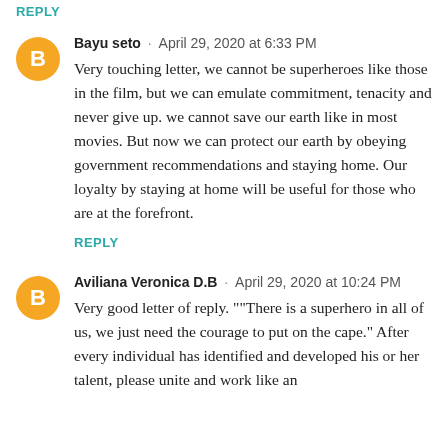REPLY
Bayu seto · April 29, 2020 at 6:33 PM
Very touching letter, we cannot be superheroes like those in the film, but we can emulate commitment, tenacity and never give up. we cannot save our earth like in most movies. But now we can protect our earth by obeying government recommendations and staying home. Our loyalty by staying at home will be useful for those who are at the forefront.
REPLY
Aviliana Veronica D.B · April 29, 2020 at 10:24 PM
Very good letter of reply. ""There is a superhero in all of us, we just need the courage to put on the cape." After every individual has identified and developed his or her talent, please unite and work like an